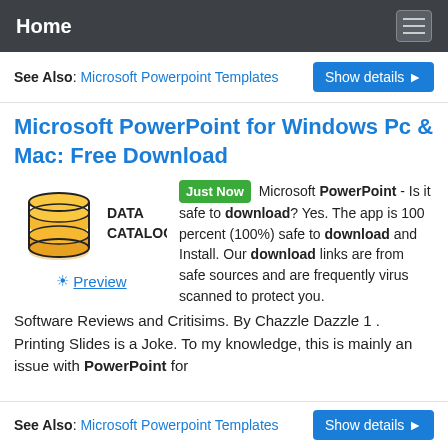Home
See Also: Microsoft Powerpoint Templates
Microsoft PowerPoint for Windows Pc & Mac: Free Download
[Figure (logo): Data Catalog logo with orange stack/database icon and text DATA CATALOG]
Just Now Microsoft PowerPoint - Is it safe to download? Yes. The app is 100 percent (100%) safe to download and Install. Our download links are from safe sources and are frequently virus scanned to protect you. Software Reviews and Critisims. By Chazzle Dazzle 1 . Printing Slides is a Joke. To my knowledge, this is mainly an issue with PowerPoint for
Preview
See Also: Microsoft Powerpoint Templates